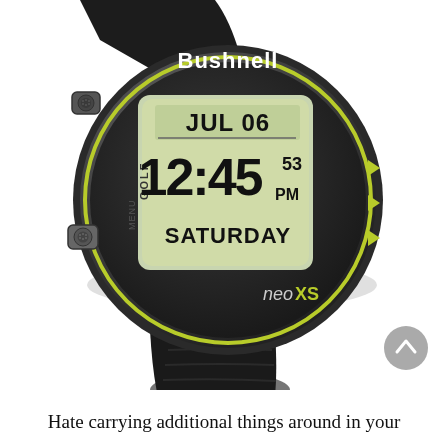[Figure (photo): A Bushnell Neo XS GPS golf watch in black, showing the date JUL 06, time 12:45:53 PM, and day SATURDAY on its LCD screen. The watch has a black rubber strap with side buttons and a yellow-green accent ring.]
Hate carrying additional things around in your